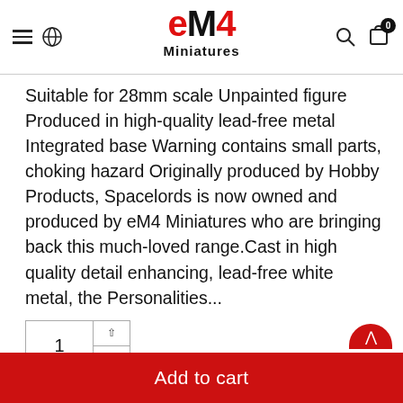[Figure (logo): eM4 Miniatures logo with red stylized text and black Miniatures subtitle]
Suitable for 28mm scale Unpainted figure Produced in high-quality lead-free metal Integrated base Warning contains small parts, choking hazard Originally produced by Hobby Products, Spacelords is now owned and produced by eM4 Miniatures who are bringing back this much-loved range.Cast in high quality detail enhancing, lead-free white metal, the Personalities...
[Figure (other): Quantity selector showing value 1 with up and down arrow buttons]
[Figure (other): Add to cart red button]